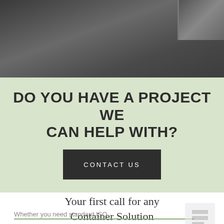[Figure (photo): Dark industrial/warehouse floor with equipment in the upper right corner, dark grey tones]
DO YOU HAVE A PROJECT WE CAN HELP WITH?
CONTACT US
Your first call for any Container Solution
Whether you need standard ISO